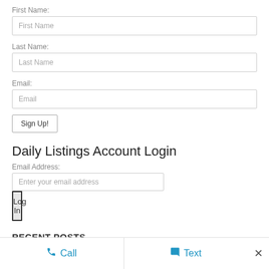First Name:
First Name
Last Name:
Last Name
Email:
Email
Sign Up!
Daily Listings Account Login
Email Address:
Enter your email address
Log In
RECENT POSTS
Call
Text